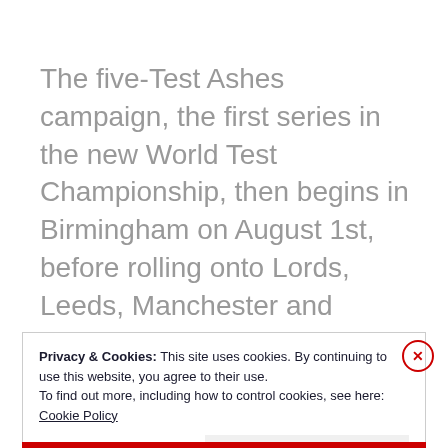The five-Test Ashes campaign, the first series in the new World Test Championship, then begins in Birmingham on August 1st, before rolling onto Lords, Leeds, Manchester and concluding at The Oval on September 12th.
Privacy & Cookies: This site uses cookies. By continuing to use this website, you agree to their use.
To find out more, including how to control cookies, see here: Cookie Policy